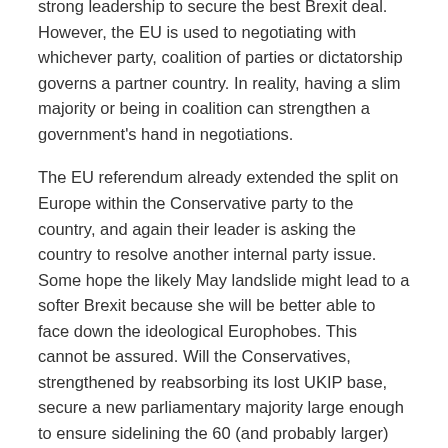strong leadership to secure the best Brexit deal. However, the EU is used to negotiating with whichever party, coalition of parties or dictatorship governs a partner country. In reality, having a slim majority or being in coalition can strengthen a government's hand in negotiations.
The EU referendum already extended the split on Europe within the Conservative party to the country, and again their leader is asking the country to resolve another internal party issue. Some hope the likely May landslide might lead to a softer Brexit because she will be better able to face down the ideological Europhobes. This cannot be assured. Will the Conservatives, strengthened by reabsorbing its lost UKIP base, secure a new parliamentary majority large enough to ensure sidelining the 60 (and probably larger) hard core of Brexiteers?